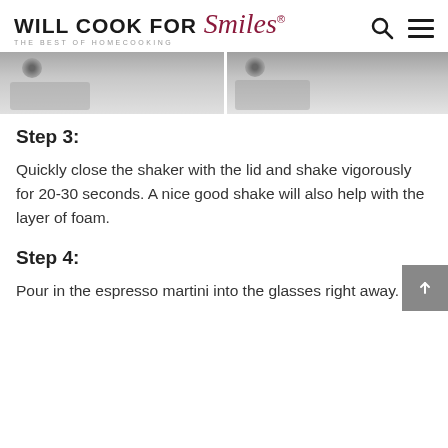WILL COOK FOR Smiles® THE BEST OF HOMECOOKING
[Figure (photo): Two side-by-side cropped photos showing metallic cocktail shakers on a light surface]
Step 3:
Quickly close the shaker with the lid and shake vigorously for 20-30 seconds. A nice good shake will also help with the layer of foam.
Step 4:
Pour in the espresso martini into the glasses right away.